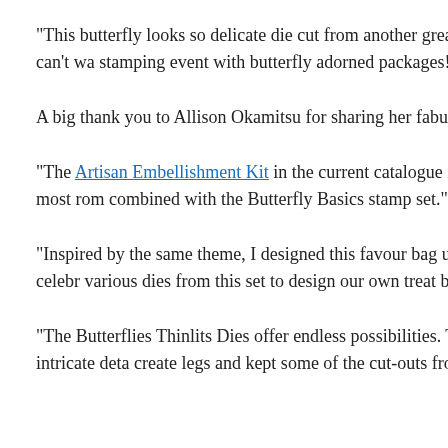“This butterfly looks so delicate die cut from another great find in my waterc replacement for the typical bow on a beautifully wrapped present. I can’t wa stamping event with butterfly adorned packages!”
A big thank you to Allison Okamitsu for sharing her fabulous selection of pr let’s see what she’s created to share with us:
“The Artisan Embellishment Kit in the current catalogue is very inspiring wit Something Borrowed Designer Series Paper is reminiscent of the most rom combined with the Butterfly Basics stamp set.”
“Inspired by the same theme, I designed this favour bag using a sketch I fou Treat Bag Thinlits Dies are perfect to create small bags reflecting the celebr various dies from this set to design our own treat bags.”
“The Butterflies Thinlits Dies offer endless possibilities. The focal point of th cardstock. I used a partial die-cutting technique to highlight the intricate deta create legs and kept some of the cut-outs from the wings to create the anto